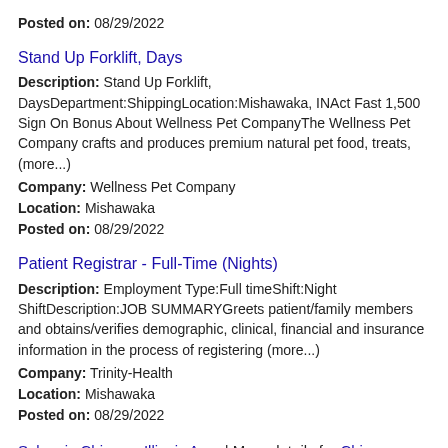Posted on: 08/29/2022
Stand Up Forklift, Days
Description: Stand Up Forklift, DaysDepartment:ShippingLocation:Mishawaka, INAct Fast 1,500 Sign On Bonus About Wellness Pet CompanyThe Wellness Pet Company crafts and produces premium natural pet food, treats, (more...)
Company: Wellness Pet Company
Location: Mishawaka
Posted on: 08/29/2022
Patient Registrar - Full-Time (Nights)
Description: Employment Type:Full timeShift:Night ShiftDescription:JOB SUMMARYGreets patient/family members and obtains/verifies demographic, clinical, financial and insurance information in the process of registering (more...)
Company: Trinity-Health
Location: Mishawaka
Posted on: 08/29/2022
Salary in Chicago, Illinois Area | More details for Chicago, Illinois Jobs |Salary